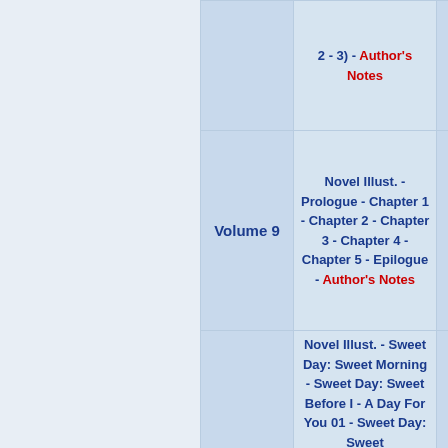| Volume | Contents |  |
| --- | --- | --- |
|  | 2 - 3) - Author's Notes |  |
| Volume 9 | Novel Illust. - Prologue - Chapter 1 - Chapter 2 - Chapter 3 - Chapter 4 - Chapter 5 - Epilogue - Author's Notes |  |
|  | Novel Illust. - Sweet Day: Sweet Morning - Sweet Day: Sweet Before I - A Day For You 01 - Sweet Day: Sweet... |  |